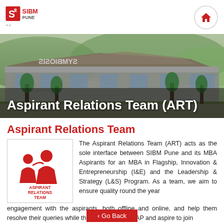SIBM PUNE
[Figure (photo): Aerial/wide view of SIBM Pune campus building with SYMBIOSIS signage and surrounding landscape]
Aspirant Relations Team (ART)
Aspirant Relations Team
[Figure (logo): Aspirant Relations Team logo with two figures and text 'ASPIRANT RELATIONS TEAM' in red]
The Aspirant Relations Team (ART) acts as the sole interface between SIBM Pune and its MBA Aspirants for an MBA in Flagship, Innovation & Entrepreneurship (I&E) and the Leadership & Strategy (L&S) Program. As a team, we aim to ensure quality round the year engagement with the aspirants, both offline and online, and help them resolve their queries while they prepare for SNAP and aspire to join
< Go Back